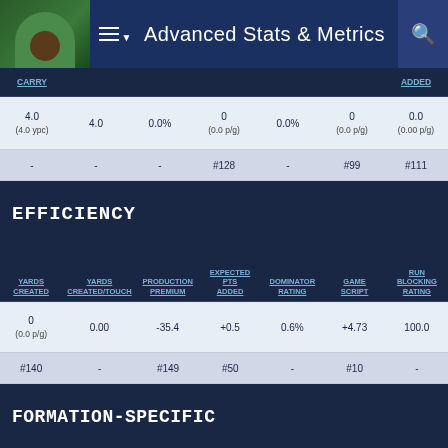Advanced Stats & Metrics
| CARRY |  |  |  |  |  | ADDED |
| --- | --- | --- | --- | --- | --- | --- |
| 4.0 (4.0 ypc) | 4.0 | 0.0% | 0 (0.0 p/g) | 0.0% | 0 (0.0 p/g) | 0.0 (0.00 p/g) |
| - | - | - | #128 | - | #99 | #111 |
EFFICIENCY
| YARDS CREATED | YARDS CREATED/TOUCH | PRODUCTION PREMIUM | EXPECTED PTS ADDED | DOMINATOR RATING | GAME SCRIPT | RUN BLOCKING RATING |
| --- | --- | --- | --- | --- | --- | --- |
| 0 (0.0 p/g) | 0.00 | -35.4 | +0.5 | 0.6% | +4.73 | 100.0 |
| #140 | - | #149 | #50 | - | #10 | - |
FORMATION-SPECIFIC
| DEFENDERS IN THE | STACKED FRONT CARRY | BASE FRONT CARRY | LIGHT FRONT CARRY | SHOTGUN CARRY | UNDER CENTER CARRY | STUFFED |
| --- | --- | --- | --- | --- | --- | --- |